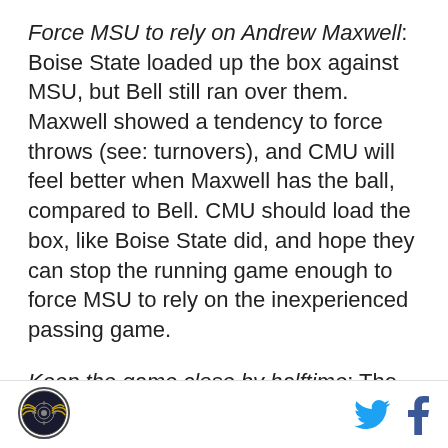Force MSU to rely on Andrew Maxwell: Boise State loaded up the box against MSU, but Bell still ran over them. Maxwell showed a tendency to force throws (see: turnovers), and CMU will feel better when Maxwell has the ball, compared to Bell. CMU should load the box, like Boise State did, and hope they can stop the running game enough to force MSU to rely on the inexperienced passing game.
Keep the game close by halftime: The longer this game stays close, the more enthusiasm in the stadium will increase. While there likely will be a lot of MSU fans there, there certainly will be a road feel at certain points. The Chips want that feeling to last as long as
[Figure (logo): Circular logo with wings and target/crosshair design]